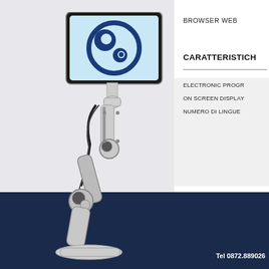[Figure (photo): A robotic arm/stand with a monitor or tablet display showing a circular logo, standing on a dark navy floor against a light grey background. The robot is metallic white/silver with articulated joints.]
BROWSER WEB
CARATTERISTICH
ELECTRONIC PROGR
ON SCREEN DISPLAY
NUMERO DI LINGUE
Tel 0872.889026